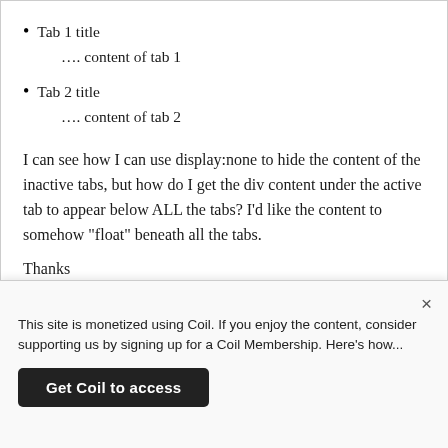Tab 1 title
…. content of tab 1
Tab 2 title
…. content of tab 2
I can see how I can use display:none to hide the content of the inactive tabs, but how do I get the div content under the active tab to appear below ALL the tabs? I'd like the content to somehow “float” beneath all the tabs.
Thanks
[Figure (other): Red badge with number 76]
×
This site is monetized using Coil. If you enjoy the content, consider supporting us by signing up for a Coil Membership. Here's how...
Get Coil to access